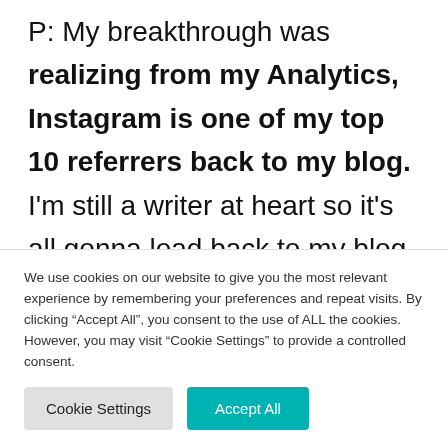P: My breakthrough was realizing from my Analytics, Instagram is one of my top 10 referrers back to my blog. I'm still a writer at heart so it's all gonna lead back to my blog but I realized I needed to take this thing seriously.  So I took a free video challenge because I knew I needed to get
We use cookies on our website to give you the most relevant experience by remembering your preferences and repeat visits. By clicking "Accept All", you consent to the use of ALL the cookies. However, you may visit "Cookie Settings" to provide a controlled consent.